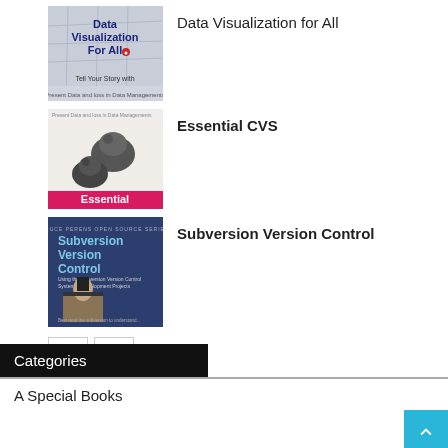[Figure (illustration): Book cover: Data Visualization For All - Tell Your Story with, blue and white design]
Data Visualization for All
[Figure (illustration): Book cover: Essential CVS - black and white illustration of beavers, pink/magenta bottom bar]
Essential CVS
[Figure (illustration): Book cover: Subversion Version Control - dark blue cover with Abraham Lincoln illustration]
Subversion Version Control
Categories
A Special Books